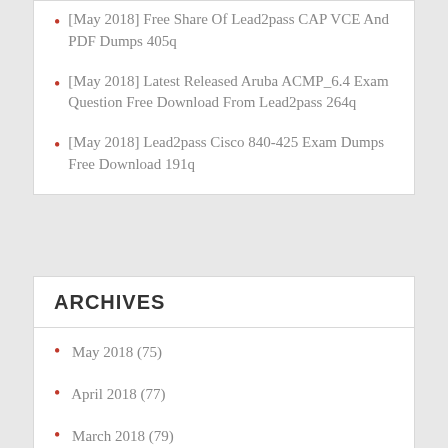[May 2018] Free Share Of Lead2pass CAP VCE And PDF Dumps 405q
[May 2018] Latest Released Aruba ACMP_6.4 Exam Question Free Download From Lead2pass 264q
[May 2018] Lead2pass Cisco 840-425 Exam Dumps Free Download 191q
ARCHIVES
May 2018 (75)
April 2018 (77)
March 2018 (79)
February 2018 (60)